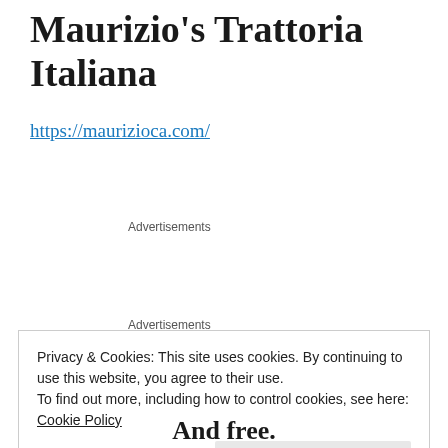Maurizio's Trattoria Italiana
https://maurizioca.com/
Advertisements
Advertisements
Privacy & Cookies: This site uses cookies. By continuing to use this website, you agree to their use.
To find out more, including how to control cookies, see here:
Cookie Policy
Close and accept
And free.